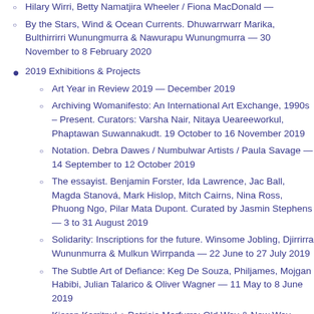Hilary Wirri, Betty Namatjira Wheeler / Fiona MacDonald —
By the Stars, Wind & Ocean Currents. Dhuwarrwarr Marika, Bulthirrirri Wunungmurra & Nawurapu Wunungmurra — 30 November to 8 February 2020
2019 Exhibitions & Projects
Art Year in Review 2019 — December 2019
Archiving Womanifesto: An International Art Exchange, 1990s – Present. Curators: Varsha Nair, Nitaya Ueareeworkul, Phaptawan Suwannakudt. 19 October to 16 November 2019
Notation. Debra Dawes / Numbulwar Artists / Paula Savage — 14 September to 12 October 2019
The essayist. Benjamin Forster, Ida Lawrence, Jac Ball, Magda Stanová, Mark Hislop, Mitch Cairns, Nina Ross, Phuong Ngo, Pilar Mata Dupont. Curated by Jasmin Stephens — 3 to 31 August 2019
Solidarity: Inscriptions for the future. Winsome Jobling, Djirrirra Wununmurra & Mulkun Wirrpanda — 22 June to 27 July 2019
The Subtle Art of Defiance: Keg De Souza, Philjames, Mojgan Habibi, Julian Talarico & Oliver Wagner — 11 May to 8 June 2019
Kieren Karritpul + Patricia Marfurra: Old Way & New Way — 30 March to 4 May 2019
Future Feminist Archive - LIVE! at Wollongong Art Gallery. Artists: Alison Alder, Belle Blau, Julie Freeman, Deborah Kelly, Fiona MacDonald, Wendy Murray, Ciara Phillips & Jessie Street National